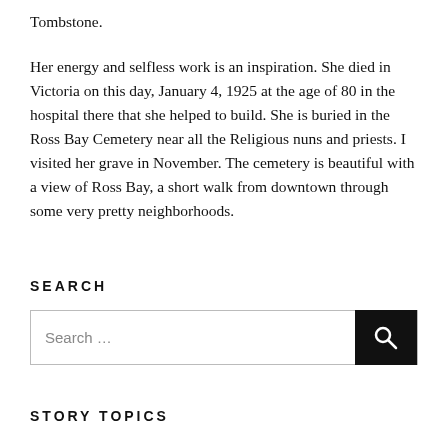Tombstone.
Her energy and selfless work is an inspiration. She died in Victoria on this day, January 4, 1925 at the age of 80 in the hospital there that she helped to build. She is buried in the Ross Bay Cemetery near all the Religious nuns and priests. I visited her grave in November. The cemetery is beautiful with a view of Ross Bay, a short walk from downtown through some very pretty neighborhoods.
SEARCH
Search …
STORY TOPICS